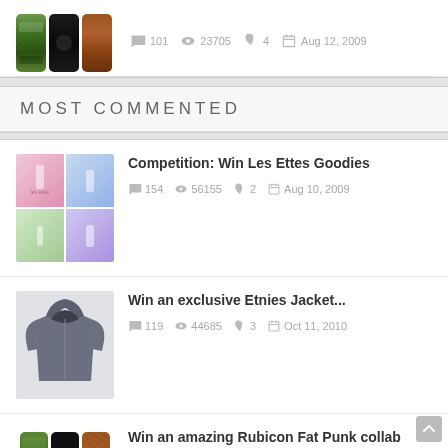[Figure (photo): Three skateboard decks (green, black, brown) shown vertically, partial view at top]
101  23705  4  Aug 12, 2009
MOST COMMENTED
[Figure (photo): Les Ettes product bottles/cans in a 2x2 grid collage]
Competition: Win Les Ettes Goodies
154  56155  2  Aug 10, 2009
[Figure (photo): Dark navy hoodie jacket on white background]
Win an exclusive Etnies Jacket...
119  44685  3  Oct 11, 2010
[Figure (photo): Three skateboard decks (green/panda, black, brown/textured) shown vertically]
Win an amazing Rubicon Fat Punk collab Deck
101  23705  4  Aug 12, 2009